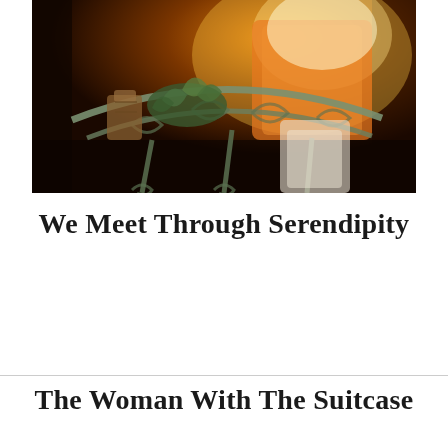[Figure (photo): A warmly lit photograph of a decorative wrought-iron side table with ornate scrollwork, holding a glowing amber lamp and a potted plant with greenery. The scene has a cozy, vintage ambiance with warm orange and brown tones.]
We Meet Through Serendipity
The Woman With The Suitcase